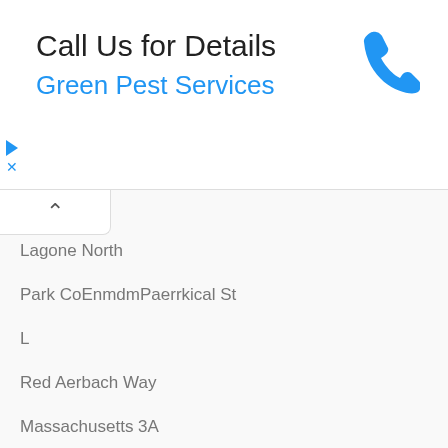Call Us for Details
Green Pest Services
[Figure (illustration): Blue phone handset icon]
Lagone North
Park CoEnmdmPaerrkical St
L
Red Aerbach Way
Massachusetts 3A
Ceremonies by appointment. TIPS & SUGGESTIONS FOR VISITORS
Martha
F